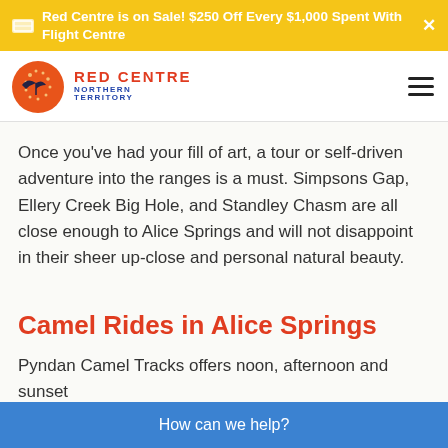Red Centre is on Sale! $250 Off Every $1,000 Spent With Flight Centre
[Figure (logo): Red Centre Northern Territory logo with bird silhouette on orange circle]
Once you've had your fill of art, a tour or self-driven adventure into the ranges is a must. Simpsons Gap, Ellery Creek Big Hole, and Standley Chasm are all close enough to Alice Springs and will not disappoint in their sheer up-close and personal natural beauty.
Camel Rides in Alice Springs
Pyndan Camel Tracks offers noon, afternoon and sunset
How can we help?